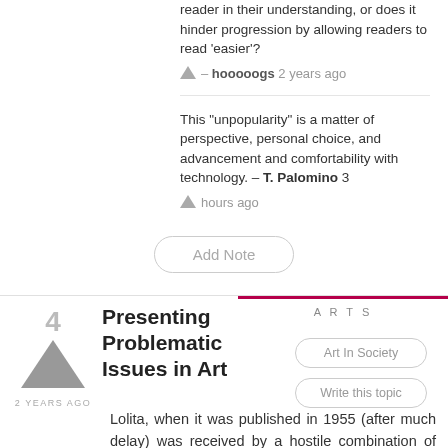reader in their understanding, or does it hinder progression by allowing readers to read 'easier'?
– hooooogs 2 years ago
This "unpopularity" is a matter of perspective, personal choice, and advancement and comfortability with technology. – T. Palomino 3 hours ago
Add Note
ARTS
Presenting Problematic Issues in Art
Art In Society
Write this topic
Lolita, when it was published in 1955 (after much delay) was received by a hostile combination of abhorrent dismay and critical acclaim. Similarly, Salman Rushdie's The Satanic Verses upon release in 1988 received both popular and critical praise but